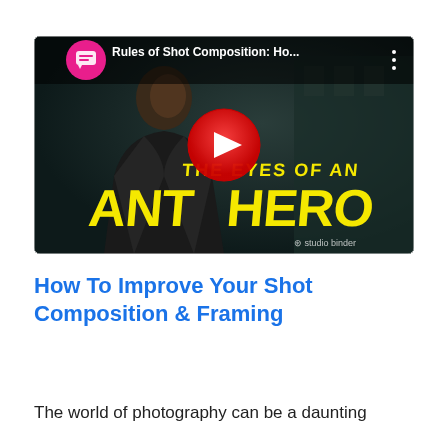[Figure (screenshot): YouTube video thumbnail for 'Rules of Shot Composition: Ho...' showing a dark cinematic image of a man in a leather jacket with yellow bold text reading 'THE EYES OF AN ANTI HERO' overlaid. A red YouTube play button is centered. Top-left shows a pink StudioBinder logo circle with chat icon and the video title. Studio Binder watermark at bottom right.]
How To Improve Your Shot Composition & Framing
The world of photography can be a daunting...